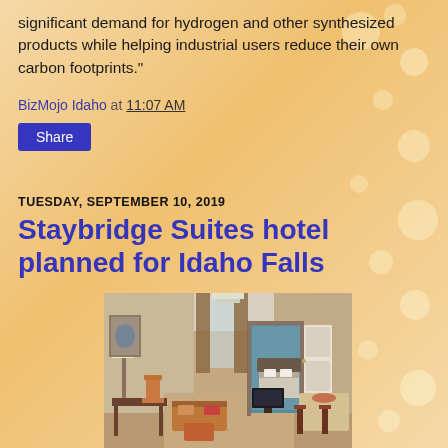significant demand for hydrogen and other synthesized products while helping industrial users reduce their own carbon footprints."
BizMojo Idaho at 11:07 AM
Share
TUESDAY, SEPTEMBER 10, 2019
Staybridge Suites hotel planned for Idaho Falls
[Figure (photo): Interior photo of a Staybridge Suites hotel room showing a living area with sofa, desk, chairs, and a view into a bedroom with a bed. A dining area with bar stools is visible on the right.]